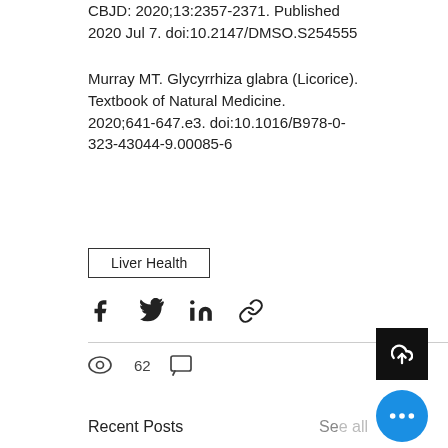CBJD: 2020;13:2357-2371. Published 2020 Jul 7. doi:10.2147/DMSO.S254555
Murray MT. Glycyrrhiza glabra (Licorice). Textbook of Natural Medicine. 2020;641-647.e3. doi:10.1016/B978-0-323-43044-9.00085-6
Liver Health
[Figure (infographic): Social share icons: Facebook, Twitter, LinkedIn, link/copy icon]
62 views, 0 comments
Recent Posts
See all